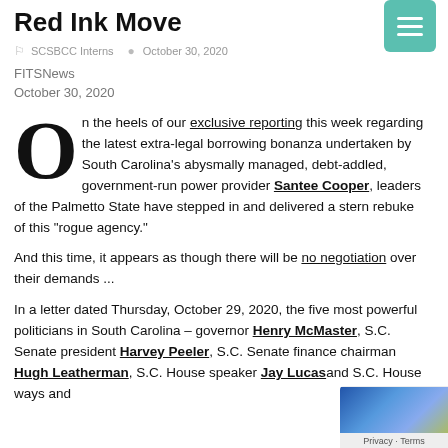Red Ink Move
SCSBCC Interns   October 30, 2020
FITSNews
October 30, 2020
On the heels of our exclusive reporting this week regarding the latest extra-legal borrowing bonanza undertaken by South Carolina’s abysmally managed, debt-addled, government-run power provider Santee Cooper, leaders of the Palmetto State have stepped in and delivered a stern rebuke of this “rogue agency.”
And this time, it appears as though there will be no negotiation over their demands ...
In a letter dated Thursday, October 29, 2020, the five most powerful politicians in South Carolina – governor Henry McMaster, S.C. Senate president Harvey Peeler, S.C. Senate finance chairman Hugh Leatherman, S.C. House speaker Jay Lucas and S.C. House ways and